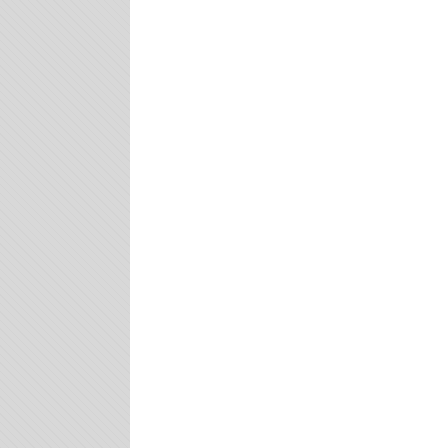RATS ASS IF YOU BLOCK ME FOR EVER- I DON'T NEED POS'S LIKE YOU IN MY LIFE. THEN YOU TALK TO ME OF CIVILIT WHEN YOU STARTED YOUR SHIT